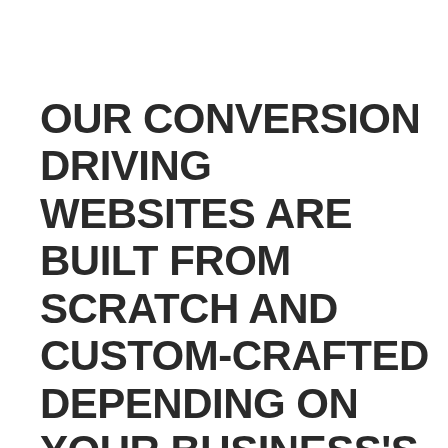OUR CONVERSION DRIVING WEBSITES ARE BUILT FROM SCRATCH AND CUSTOM-CRAFTED DEPENDING ON YOUR BUSINESS'S NEEDS.
Hollywood Web Designers & SEO